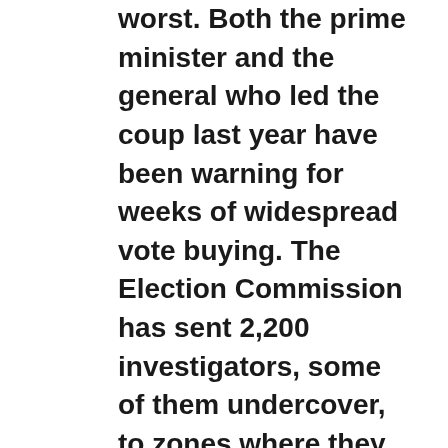worst. Both the prime minister and the general who led the coup last year have been warning for weeks of widespread vote buying. The Election Commission has sent 2,200 investigators, some of them undercover, to zones where they believe the problem will be most common. And six police officers have been assigned to monitor each of the 400 constituencies